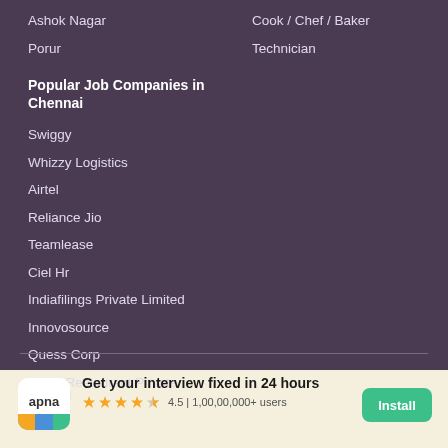Ashok Nagar
Porur
Cook / Chef / Baker
Technician
Popular Job Companies in Chennai
Swiggy
Whizzy Logistics
Airtel
Reliance Jio
Teamlease
Ciel Hr
Indiafilings Private Limited
Innovosource
Quess Corp
Maan Restaurant Private Limited
Get your interview fixed in 24 hours 4.5 | 1,00,00,000+ users Install